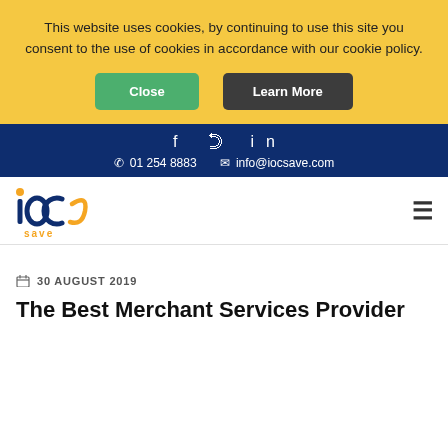This website uses cookies, by continuing to use this site you consent to the use of cookies in accordance with our cookie policy.
Close | Learn More
f  𝑡  in   📞 01 254 8883   ✉ info@iocsave.com
[Figure (logo): IOC Save company logo with orange accent and dark blue text]
30 AUGUST 2019
The Best Merchant Services Provider